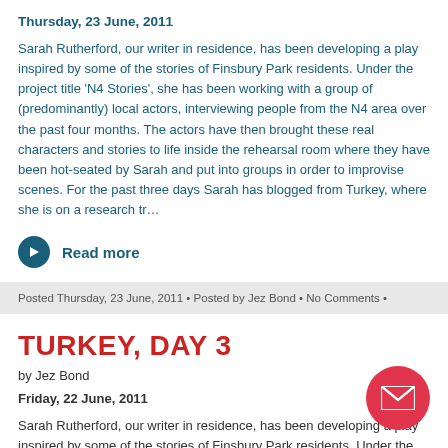Thursday, 23 June, 2011
Sarah Rutherford, our writer in residence, has been developing a play inspired by some of the stories of Finsbury Park residents. Under the project title ‘N4 Stories’, she has been working with a group of (predominantly) local actors, interviewing people from the N4 area over the past four months. The actors have then brought these real characters and stories to life inside the rehearsal room where they have been hot-seated by Sarah and put into groups in order to improvise scenes. For the past three days Sarah has blogged from Turkey, where she is on a research tr…
Read more
Posted Thursday, 23 June, 2011 • Posted by Jez Bond • No Comments •
TURKEY, DAY 3
by Jez Bond
Friday, 22 June, 2011
Sarah Rutherford, our writer in residence, has been developing a play inspired by some of the stories of Finsbury Park residents. Under the project title ‘N4 Stories’, she has been working with a group of (predominantly) local actors, interviewing people from the N4 area over the past four months. The actors have then brought these real characters and